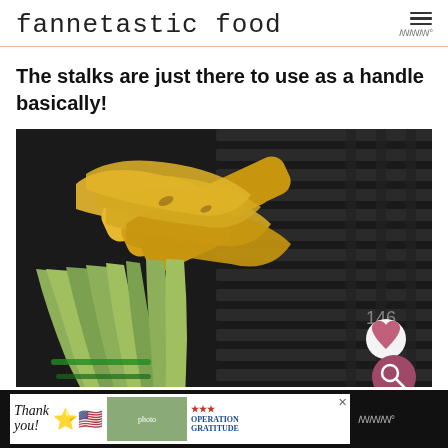fannetastic food
The stalks are just there to use as a handle basically!
[Figure (photo): Several ears of corn with husks pulled back and tied, grilling on a large dark BBQ grill grate. The corn kernels are golden and slightly charred, and the husks form handles at the bottom. A white circular button with a heart icon and a rose-colored circular button with a search/magnifier icon are overlaid on the bottom right of the image.]
[Figure (screenshot): Advertisement banner at bottom: 'Thank you!' text with American flag star graphic on left, photo of three people wearing masks holding boxes in center, 'Operation Gratitude' logo on right, with an X close button.]